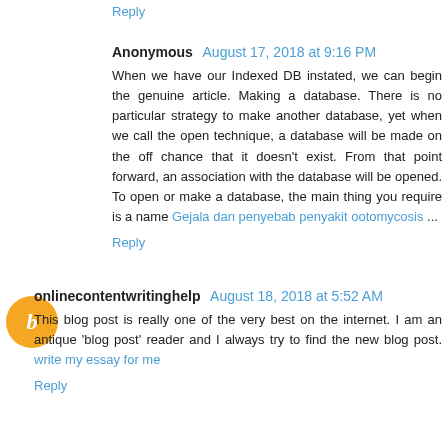Reply
Anonymous  August 17, 2018 at 9:16 PM
When we have our Indexed DB instated, we can begin the genuine article. Making a database. There is no particular strategy to make another database, yet when we call the open technique, a database will be made on the off chance that it doesn't exist. From that point forward, an association with the database will be opened. To open or make a database, the main thing you require is a name Gejala dan penyebab penyakit ootomycosis ...
Reply
onlinecontentwritinghelp  August 18, 2018 at 5:52 AM
This blog post is really one of the very best on the internet. I am an antique 'blog post' reader and I always try to find the new blog post. write my essay for me
Reply